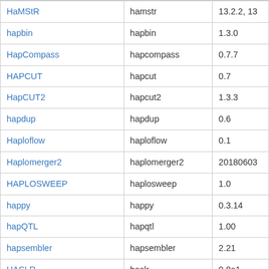| HaMStR | hamstr | 13.2.2, 13 |
| hapbin | hapbin | 1.3.0 |
| HapCompass | hapcompass | 0.7.7 |
| HAPCUT | hapcut | 0.7 |
| HapCUT2 | hapcut2 | 1.3.3 |
| hapdup | hapdup | 0.6 |
| Haploflow | haploflow | 0.1 |
| Haplomerger2 | haplomerger2 | 20180603 |
| HAPLOSWEEP | haplosweep | 1.0 |
| happy | happy | 0.3.14 |
| hapQTL | hapqtl | 1.00 |
| hapsembler | hapsembler | 2.21 |
| HASLR | haslr | 0.8a1 |
| hclust2 | hclust2 | 1.0.0 |
| HDF4 | hdf4 | 4.2.11 |
| HDF5 | hdf5 | 1.0.1 |